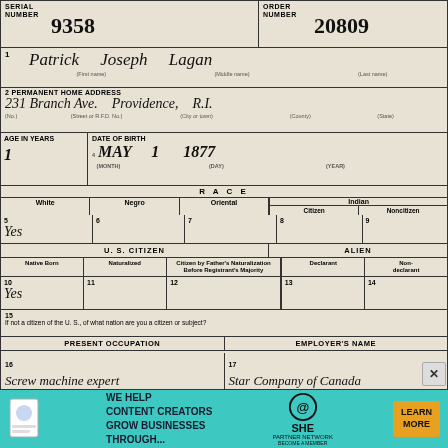| SERIAL NUMBER | ORDER NUMBER |
| --- | --- |
| 9358 | 20809 |
1  Patrick Joseph Lagan
(First name) (Middle name) (Last name)
2 PERMANENT HOME ADDRESS
231 Branch Ave. Providence, R.I.
(No.) (Street or R.F.D. No.) (City or town) (County) (State)
Age in Years: 1
Date of Birth: 4
May 1 1877
(Month) (Day) (Year)
RACE
| White | Negro | Oriental | Indian Citizen | Indian Noncitizen |
| --- | --- | --- | --- | --- |
| 5 Yes | 6 | 7 | 8 | 9 |
U.S. CITIZEN / ALIEN
| Native Born | Naturalized | Citizen by Father's Naturalization Before Registrant's Majority | Declarant | Non-declarant |
| --- | --- | --- | --- | --- |
| 10 Yes | 11 | 12 | 13 | 14 |
15
If not a citizen of the U.S., of what nation are you a citizen or subject?
PRESENT OCCUPATION   EMPLOYER'S NAME
16 Screw machine expert   17 Star Company of Canada
18 PLACE OF EMPLOYMENT OR BUSINESS:
Hamilton, Ontrio, Canada
(No.) (Street or R.F.D. No.) (City or town) (County) (State)
NEAREST RELATIVE
19 Name Mrs. P.J. Lagan
20 Address 573 Catherine St. Hamilton, Ontrio, Canada